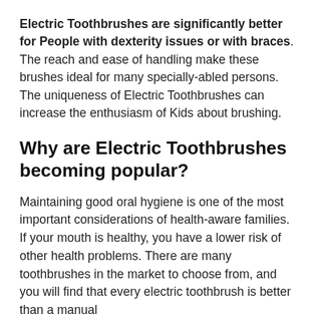Electric Toothbrushes are significantly better for People with dexterity issues or with braces. The reach and ease of handling make these brushes ideal for many specially-abled persons. The uniqueness of Electric Toothbrushes can increase the enthusiasm of Kids about brushing.
Why are Electric Toothbrushes becoming popular?
Maintaining good oral hygiene is one of the most important considerations of health-aware families. If your mouth is healthy, you have a lower risk of other health problems. There are many toothbrushes in the market to choose from, and you will find that every electric toothbrush is better than a manual